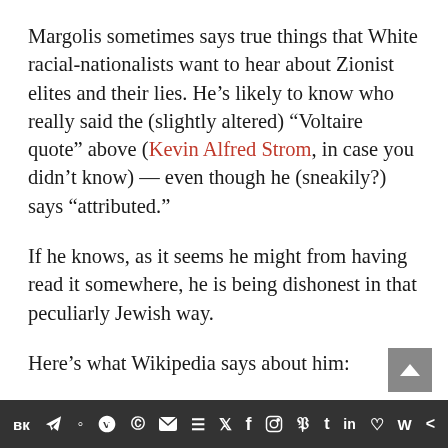Margolis sometimes says true things that White racial-nationalists want to hear about Zionist elites and their lies. He’s likely to know who really said the (slightly altered) “Voltaire quote” above (Kevin Alfred Strom, in case you didn’t know) — even though he (sneakily?) says “attributed.”
If he knows, as it seems he might from having read it somewhere, he is being dishonest in that peculiarly Jewish way.
Here’s what Wikipedia says about him:
Social media share icons bar